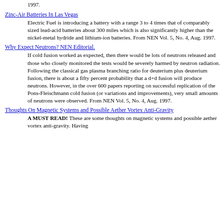1997.
Zinc-Air Batteries In Las Vegas
Electric Fuel is introducing a battery with a range 3 to 4 times that of comparably sized lead-acid batteries about 300 miles which is also significantly higher than the nickel-metal hydride and lithium-ion batteries. From NEN Vol. 5, No. 4, Aug. 1997.
Why Expect Neutrons? NEN Editorial.
If cold fusion worked as expected, then there would be lots of neutrons released and those who closely monitored the tests would be severely harmed by neutron radiation. Following the classical gas plasma branching ratio for deuterium plus deuterium fusion, there is about a fifty percent probability that a d+d fusion will produce neutrons. However, in the over 600 papers reporting on successful replication of the Pons-Fleischmann cold fusion (or variations and improvements), very small amounts of neutrons were observed. From NEN Vol. 5, No. 4, Aug. 1997.
Thoughts On Magnetic Systems and Possible Aether Vortex Anti-Gravity
A MUST READ! These are some thoughts on magnetic systems and possible aether vortex anti-gravity. Having